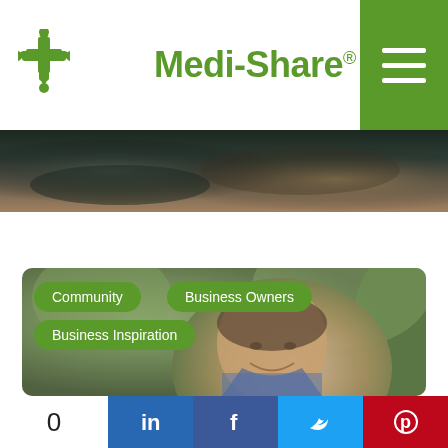[Figure (logo): Medi-Share logo with green cross/people icon and green text]
[Figure (photo): Close-up hero banner image showing dark blurred background, possibly hands or surface]
[Figure (photo): Portrait photo of smiling middle-aged man in suit, with green category tag buttons overlaid: Community, Business Owners, Business Inspiration]
Community
Business Owners
Business Inspiration
[Figure (infographic): Social sharing bar with count 0, LinkedIn, Facebook, Twitter, Pinterest buttons]